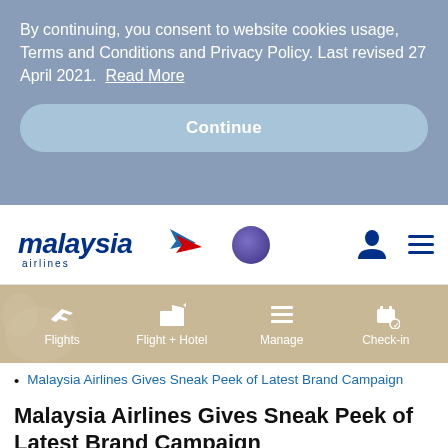By continuing, you consent to website cookies usage, Terms and Conditions and Privacy Policy. Last revised 27 April 2021. Read More
Continue
[Figure (logo): Malaysia Airlines logo with stylized wing icon and 'malaysia airlines' text in dark blue italic]
[Figure (logo): Enrich loyalty program purple circle logo]
[Figure (infographic): Navigation bar with tabs: Flights, Flight + Hotel, Manage, Check-in on a tan/beige background with decorative bird figure]
Malaysia Airlines Gives Sneak Peek of Latest Brand Campaign
Malaysia Airlines Gives Sneak Peek of Latest Brand Campaign
KLIA, 22 March 2018: Malaysia Airlines today gave an exclusive sneak preview of its new brand